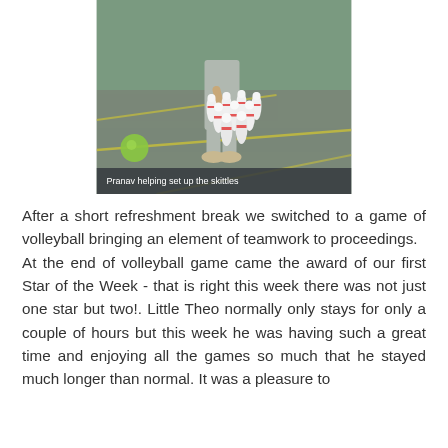[Figure (photo): Photo of a person (Pranav) helping set up bowling skittles/pins on a gym floor. Several white bowling pins are arranged in a triangle. A green ball is visible to the left. The gym floor has yellow lines.]
Pranav helping set up the skittles
After a short refreshment break we switched to a game of volleyball bringing an element of teamwork to proceedings.   At the end of volleyball game came the award of our first Star of the Week - that is right this week there was not just one star but two!. Little Theo normally only stays for only a couple of hours but this week he was having such a great time and enjoying all the games so much that he stayed much longer than normal. It was a pleasure to have him and his first Star of the Week...